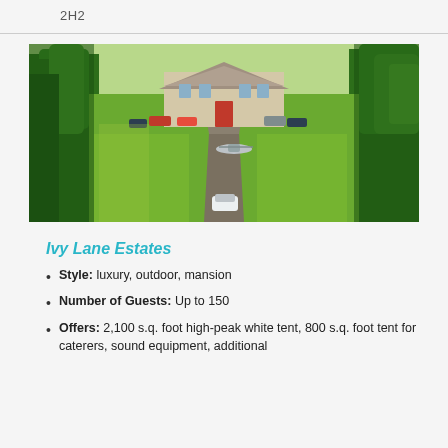2H2
[Figure (photo): Aerial view of a large luxury mansion estate with a long driveway lined by trees, green lawns, parked cars, and a helicopter on the grounds.]
Ivy Lane Estates
Style: luxury, outdoor, mansion
Number of Guests: Up to 150
Offers: 2,100 s.q. foot high-peak white tent, 800 s.q. foot tent for caterers, sound equipment, additional